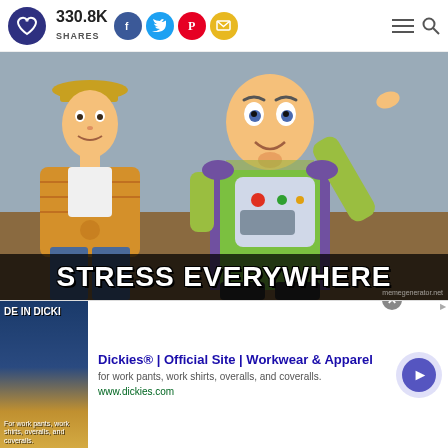330.8K SHARES — social share bar with Facebook, Twitter, Pinterest, Email icons and hamburger/search nav
[Figure (illustration): Buzz Lightyear and Woody from Toy Story meme with caption 'STRESS EVERYWHERE' and watermark memegenerator.net]
Dickies® | Official Site | Workwear & Apparel — for work pants, work shirts, overalls, and coveralls. www.dickies.com